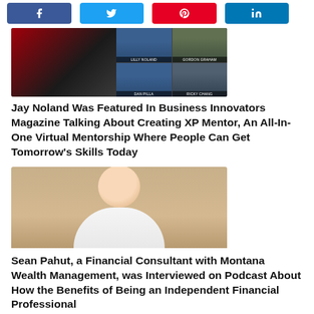[Figure (other): Social media share buttons: Facebook, Twitter, Pinterest, LinkedIn]
[Figure (photo): Photo collage of people related to XP Mentor / Business Innovators Magazine feature, with name labels: LILLY NOLAND, GORDON GRAHAM, DAN PILLA, RICKY CHANG and a fifth person partially visible]
Jay Noland Was Featured In Business Innovators Magazine Talking About Creating XP Mentor, An All-In-One Virtual Mentorship Where People Can Get Tomorrow's Skills Today
[Figure (photo): Portrait photo of Sean Pahut, a middle-aged man in a white dress shirt, against a beige/tan background]
Sean Pahut, a Financial Consultant with Montana Wealth Management, was Interviewed on Podcast About How the Benefits of Being an Independent Financial Professional